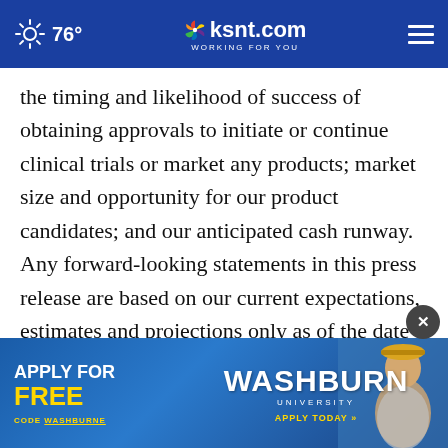76° ksnt.com WORKING FOR YOU
the timing and likelihood of success of obtaining approvals to initiate or continue clinical trials or market any products; market size and opportunity for our product candidates; and our anticipated cash runway. Any forward-looking statements in this press release are based on our current expectations, estimates and projections only as of the date of this release and are subject to a number of risks and uncertainties to differ materially and adversely from those set
[Figure (screenshot): Washburn University advertisement banner with 'Apply For Free' text in yellow, Washburn University logo, and a photo of a student wearing a yellow cap. Apply Today button shown.]